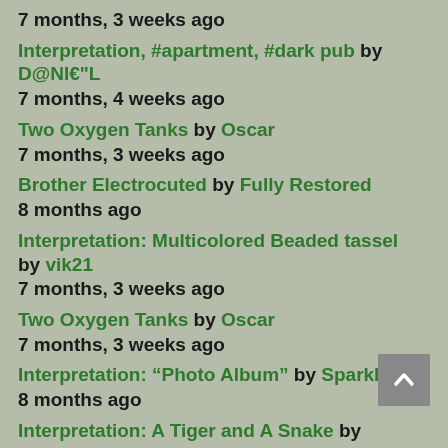7 months, 3 weeks ago
Interpretation, #apartment, #dark pub by D@NI€"L
7 months, 4 weeks ago
Two Oxygen Tanks by Oscar
7 months, 3 weeks ago
Brother Electrocuted by Fully Restored
8 months ago
Interpretation: Multicolored Beaded tassel by vik21
7 months, 3 weeks ago
Two Oxygen Tanks by Oscar
7 months, 3 weeks ago
Interpretation: “Photo Album” by Sparkle
8 months ago
Interpretation: A Tiger and A Snake by Sparkle